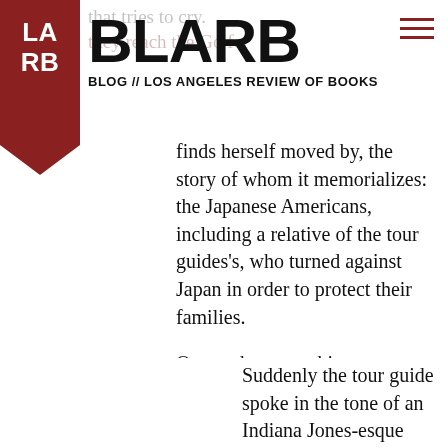BLARB // BLOG // LOS ANGELES REVIEW OF BOOKS
finds herself moved by, the story of whom it memorializes: the Japanese Americans, including a relative of the tour guides's, who turned against Japan in order to protect their families.
On another tour, this one through Union Station, she learns of the ruins of the old Chinatown, hastily vacated in the late 1930s to make way for the grand new railway terminal, through their artistic incorporation into the building itself:
Suddenly the tour guide spoke in the tone of an Indiana Jones-esque archaeologist, "But then he'd done S